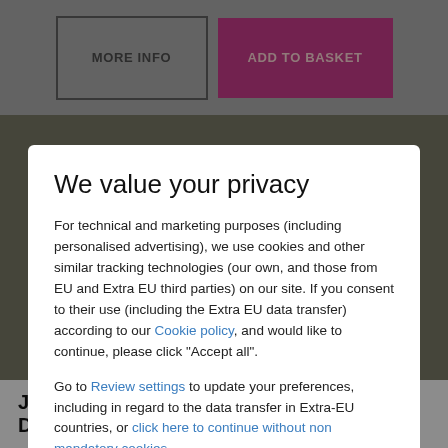[Figure (screenshot): Background area showing top navigation buttons: 'MORE INFO' (outlined) and 'ADD TO BASKET' (magenta/purple) against a gray background, and a photo of a bar/distillery scene below]
We value your privacy
For technical and marketing purposes (including personalised advertising), we use cookies and other similar tracking technologies (our own, and those from EU and Extra EU third parties) on our site. If you consent to their use (including the Extra EU data transfer) according to our Cookie policy, and would like to continue, please click "Accept all".
Go to Review settings to update your preferences, including in regard to the data transfer in Extra-EU countries, or click here to continue without non mandatory cookies.
ACCEPT ALL
Jensen's Gin Experience at Bermondsey Distillery for Two